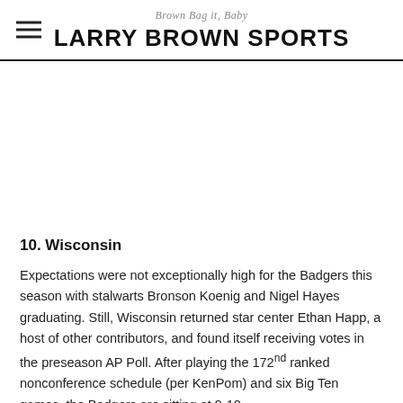Brown Bag it, Baby — LARRY BROWN SPORTS
10. Wisconsin
Expectations were not exceptionally high for the Badgers this season with stalwarts Bronson Koenig and Nigel Hayes graduating. Still, Wisconsin returned star center Ethan Happ, a host of other contributors, and found itself receiving votes in the preseason AP Poll. After playing the 172nd ranked nonconference schedule (per KenPom) and six Big Ten games, the Badgers are sitting at 9-10.